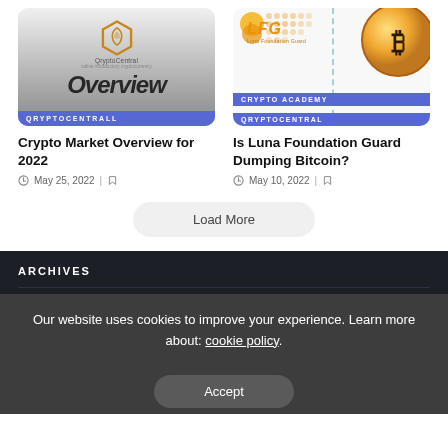[Figure (screenshot): Left article card thumbnail: QryptoCentral logo with hexagon icon on grey gradient background, text 'Overview' visible, purple tag bar reading 'QRYPTOCENTRALL']
Crypto Market Overview for 2022
May 25, 2022
[Figure (screenshot): Right article card thumbnail: LFG logo (Luna Foundation Guard) in orange italic, orange dot pattern, Bitcoin coin image on right, two purple tag bars reading 'CRYPTO ACADEMY' and 'QRYPTOCENTRAL', dashed vertical line]
Is Luna Foundation Guard Dumping Bitcoin?
May 10, 2022
Load More
ARCHIVES
Our website uses cookies to improve your experience. Learn more about: cookie policy.
Accept